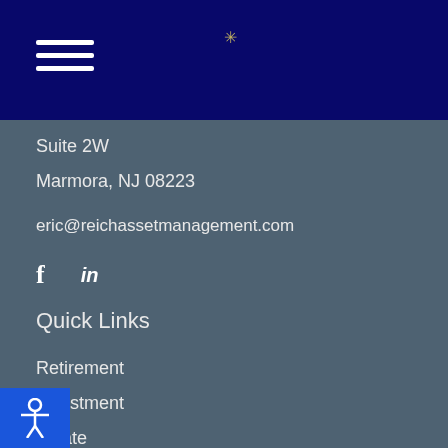[Figure (other): Dark navy header bar with hamburger menu icon (three horizontal white lines) on the left and a small decorative star/asterisk icon in the center]
Suite 2W
Marmora, NJ 08223
eric@reichassetmanagement.com
[Figure (other): Social media icons: Facebook (f) and LinkedIn (in) in white on grey background]
Quick Links
Retirement
Investment
Estate
Insurance
Tax
Money